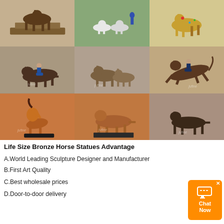[Figure (photo): 3x3 grid of bronze horse statue product photos. Top row: horse on wooden base/trophy, multiple white ceramic horse figurines, colorful decorative horse. Middle row: bronze jockey on trotting horse, pair of bronze horses, bronze jockey jumping horse. Bottom row: copper-toned rearing horse on black base, copper-toned walking horse on marble base, dark bronze standing horse.]
Life Size Bronze Horse Statues Advantage
A.World Leading Sculpture Designer and Manufacturer
B.First Art Quality
C.Best wholesale prices
D.Door-to-door delivery